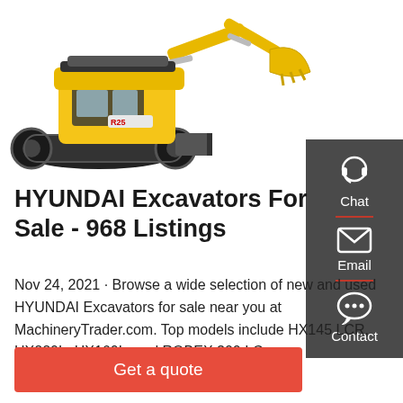[Figure (photo): Yellow Hyundai mini excavator on white background, showing tracks, cab, boom and bucket]
HYUNDAI Excavators For Sale - 968 Listings
Nov 24, 2021 · Browse a wide selection of new and used HYUNDAI Excavators for sale near you at MachineryTrader.com. Top models include HX145 LCR, HX220L, HX160L, and ROBEX 300 LC
[Figure (infographic): Dark gray sidebar with Chat, Email, and Contact icons and labels]
Get a quote